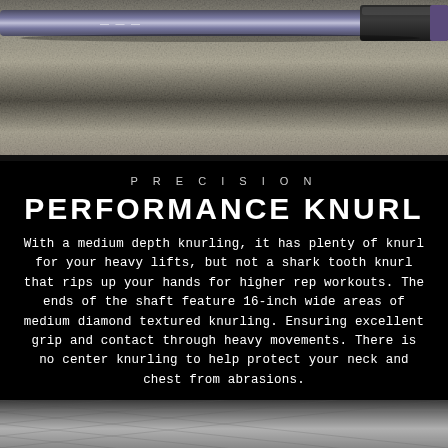[Figure (photo): Close-up photo of a barbell resting on a textured rubber floor mat, showing the barbell shaft and collar end. The background is a speckled gray gym floor.]
PRECISION
PERFORMANCE KNURL
With a medium depth knurling, it has plenty of knurl for your heavy lifts, but not a shark tooth knurl that rips up your hands for higher rep workouts. The ends of the shaft feature 16-inch wide areas of medium diamond textured knurling. Ensuring excellent grip and contact through heavy movements. There is no center knurling to help protect your neck and chest from abrasions.
[Figure (photo): Partial photo at the bottom showing a close-up of textured knurling on a barbell shaft against a dark background.]